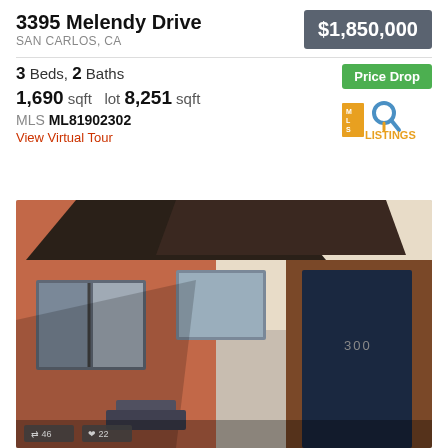3395 Melendy Drive
SAN CARLOS, CA
$1,850,000
3 Beds, 2 Baths
Price Drop
1,690 sqft  lot 8,251 sqft
MLS ML81902302
View Virtual Tour
[Figure (logo): MLSListings logo with magnifying glass icon in gold/orange and blue colors]
[Figure (photo): Exterior photo of house at 3395 Melendy Drive showing front entry with dark blue door, red/terracotta stucco walls, angular roof overhang, and windows with dark frames]